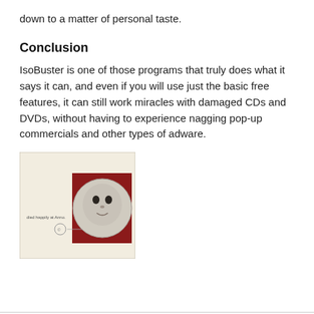down to a matter of personal taste.
Conclusion
IsoBuster is one of those programs that truly does what it says it can, and even if you will use just the basic free features, it can still work miracles with damaged CDs and DVDs, without having to experience nagging pop-up commercials and other types of adware.
[Figure (screenshot): Screenshot of a CD album cover displayed in IsoBuster software - shows a creamy/beige background with a doll face image and dark red background, with small text 'died happily at Anno.']